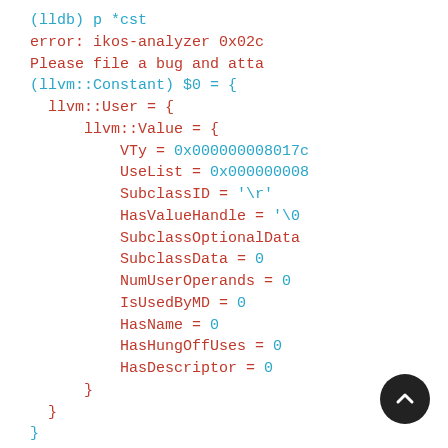(lldb) p *cst
error: ikos-analyzer 0x02c
Please file a bug and atta
(llvm::Constant) $0 = {
  llvm::User = {
    llvm::Value = {
      VTy = 0x000000008017c
      UseList = 0x000000008
      SubclassID = '\r'
      HasValueHandle = '\0
      SubclassOptionalData
      SubclassData = 0
      NumUserOperands = 0
      IsUsedByMD = 0
      HasName = 0
      HasHungOffUses = 0
      HasDescriptor = 0
    }
  }
}
(lldb) p *cst->VTy
(llvm::Type) $1 = {
  Context = 0x00007fffffff1